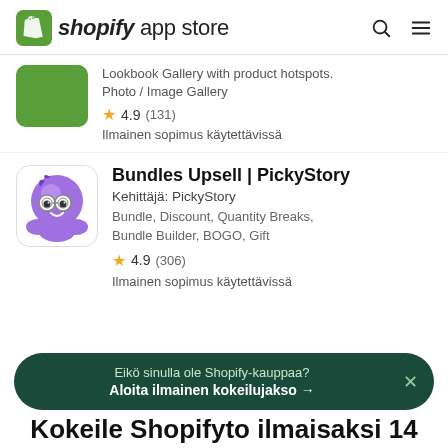shopify app store
[Figure (logo): Shopify bag logo icon in green]
Lookbook Gallery with product hotspots. Photo / Image Gallery
★ 4.9 (131)
Ilmainen sopimus käytettävissä
Bundles Upsell | PickyStory
Kehittäjä: PickyStory
Bundle, Discount, Quantity Breaks, Bundle Builder, BOGO, Gift
★ 4.9 (306)
Ilmainen sopimus käytettävissä
Eikö sinulla ole Shopify-kauppaa?
Aloita ilmainen kokeilujakso →
Kokeile Shopifyto ilmaisaksi 14...